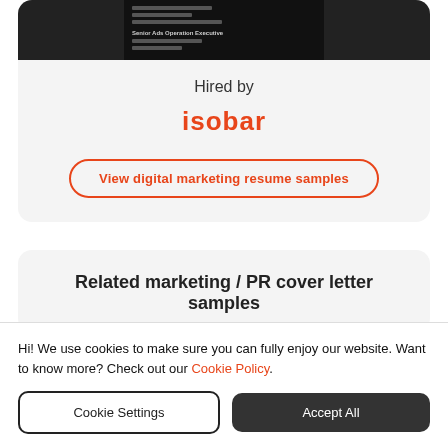[Figure (screenshot): Resume thumbnail showing a dark background with small text lines, resembling a resume document preview]
Hired by
isobar
View digital marketing resume samples
Related marketing / PR cover letter samples
Hi! We use cookies to make sure you can fully enjoy our website. Want to know more? Check out our Cookie Policy.
Cookie Settings
Accept All